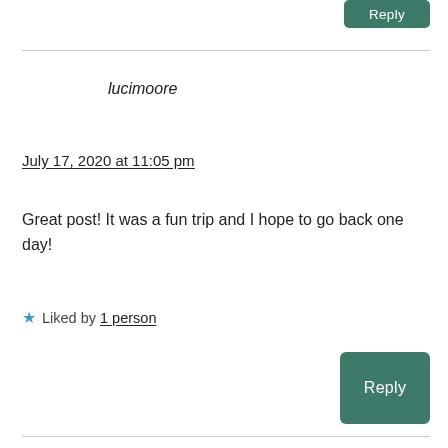Reply
lucimoore
July 17, 2020 at 11:05 pm
Great post! It was a fun trip and I hope to go back one day!
★ Liked by 1 person
Reply